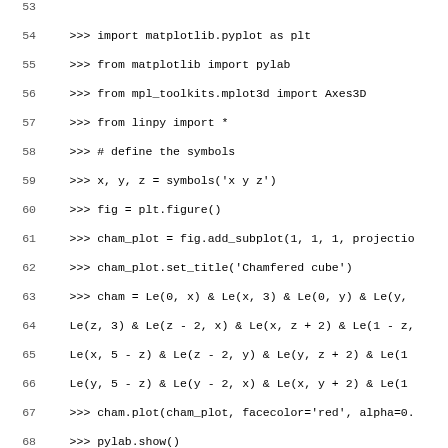Code listing lines 53–85 showing Python/LinPy usage for chamfered cube and diamond polygon vertex inspection